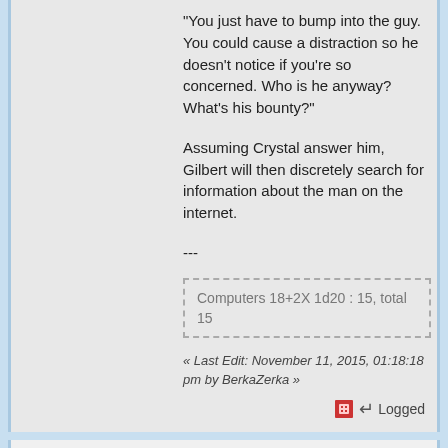"You just have to bump into the guy. You could cause a distraction so he doesn't notice if you're so concerned. Who is he anyway? What's his bounty?"
Assuming Crystal answer him, Gilbert will then discretely search for information about the man on the internet.
---
[Figure (other): Dashed box containing dice roll result: Computers 18+2X 1d20 : 15, total 15]
« Last Edit: November 11, 2015, 01:18:18 pm by BerkaZerka »
Logged
Sethaniel
Feng-Shui Master
Posts: 9836
Re: Ghost In The Machine
« Reply #46 on: November 10, 2015, 10:35:03 pm